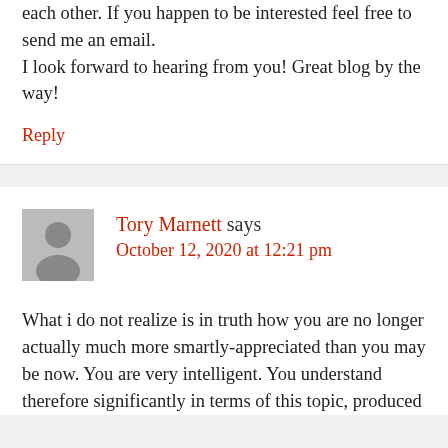each other. If you happen to be interested feel free to send me an email.
I look forward to hearing from you! Great blog by the way!
Reply
Tory Marnett says
October 12, 2020 at 12:21 pm
What i do not realize is in truth how you are no longer actually much more smartly-appreciated than you may be now. You are very intelligent. You understand therefore significantly in terms of this topic, produced